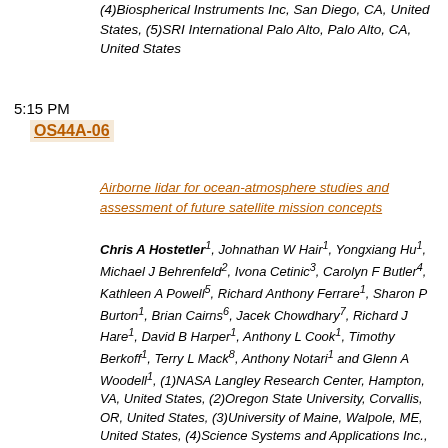(4)Biospherical Instruments Inc, San Diego, CA, United States, (5)SRI International Palo Alto, Palo Alto, CA, United States
5:15 PM
OS44A-06
Airborne lidar for ocean-atmosphere studies and assessment of future satellite mission concepts
Chris A Hostetler1, Johnathan W Hair1, Yongxiang Hu1, Michael J Behrenfeld2, Ivona Cetinic3, Carolyn F Butler4, Kathleen A Powell5, Richard Anthony Ferrare1, Sharon P Burton1, Brian Cairns6, Jacek Chowdhary7, Richard J Hare1, David B Harper1, Anthony L Cook1, Timothy Berkoff1, Terry L Mack8, Anthony Notari1 and Glenn A Woodell1, (1)NASA Langley Research Center, Hampton, VA, United States, (2)Oregon State University, Corvallis, OR, United States, (3)University of Maine, Walpole, ME, United States, (4)Science Systems and Applications Inc., Hampton, VA, United States, (5)NASA, Hampton, VA, United States, (6)NASA Goddard Institute for Space Studies, New York, NY, United States, (7)Columbia University of